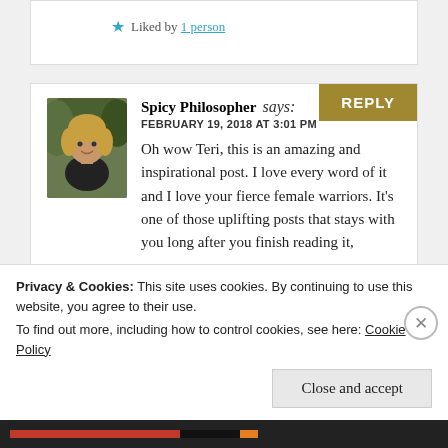Liked by 1 person
Spicy Philosopher says: FEBRUARY 19, 2018 AT 3:01 PM Oh wow Teri, this is an amazing and inspirational post. I love every word of it and I love your fierce female warriors. It's one of those uplifting posts that stays with you long after you finish reading it,
Privacy & Cookies: This site uses cookies. By continuing to use this website, you agree to their use.
To find out more, including how to control cookies, see here: Cookie Policy
Close and accept